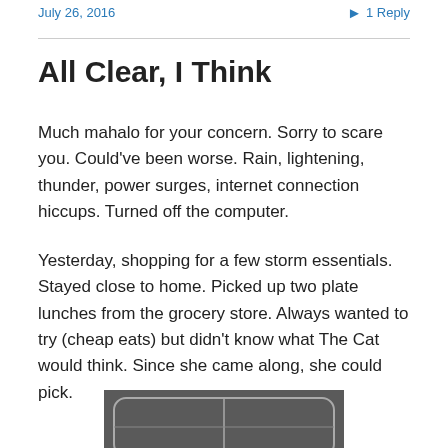July 26, 2016    1 Reply
All Clear, I Think
Much mahalo for your concern. Sorry to scare you. Could've been worse. Rain, lightening, thunder, power surges, internet connection hiccups. Turned off the computer.
Yesterday, shopping for a few storm essentials. Stayed close to home. Picked up two plate lunches from the grocery store. Always wanted to try (cheap eats) but didn't know what The Cat would think. Since she came along, she could pick.
[Figure (photo): Partial photo of what appears to be a plate lunch or food container on a textured surface]